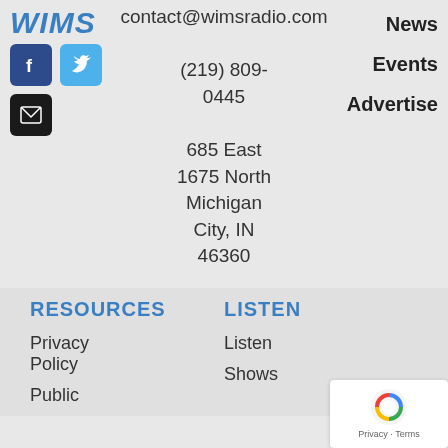[Figure (logo): WIMS radio logo in blue italic bold text]
[Figure (illustration): Facebook icon (blue square with white F), Twitter icon (light blue square with white bird), Email icon (black square with white envelope)]
contact@wimsradio.com
(219) 809-0445
685 East
1675 North
Michigan City, IN
46360
News
Events
Advertise
RESOURCES
LISTEN
Privacy Policy
Public
Listen
Shows